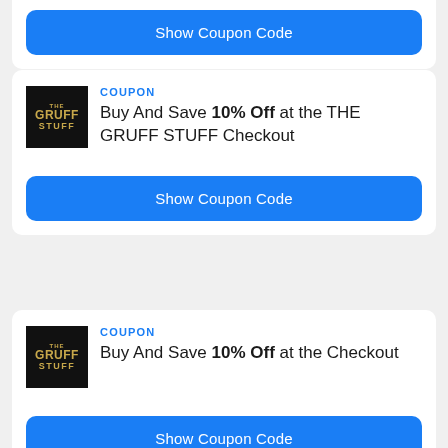[Figure (other): Partial coupon card top showing blue Show Coupon Code button]
[Figure (other): THE GRUFF STUFF logo - black square with gold text]
COUPON
Buy And Save 10% Off at the THE GRUFF STUFF Checkout
Show Coupon Code
[Figure (other): THE GRUFF STUFF logo - black square with gold text]
COUPON
Buy And Save 10% Off at the Checkout
Show Coupon Code